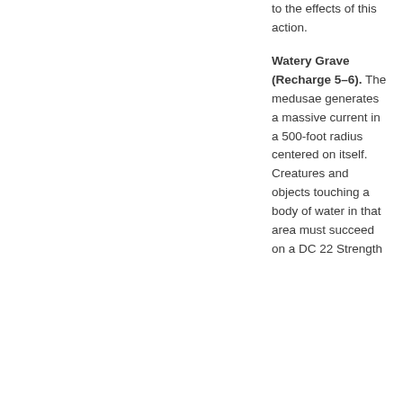to the effects of this action.
Watery Grave (Recharge 5–6). The medusae generates a massive current in a 500-foot radius centered on itself. Creatures and objects touching a body of water in that area must succeed on a DC 22 Strength